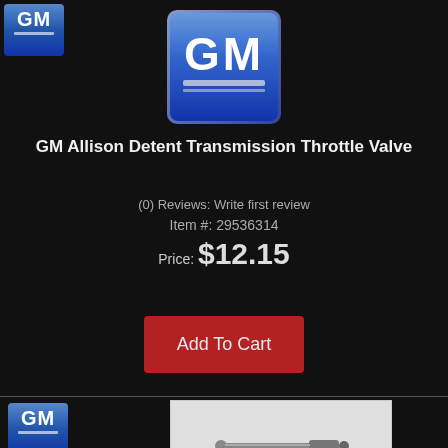[Figure (logo): Small GM logo badge in top-left corner]
[Figure (logo): Large GM logo badge centered at top]
GM Allison Detent Transmission Throttle Valve
(0) Reviews: Write first review
Item #: 29536314
Price: $12.15
[Figure (other): Add To Cart red button]
[Figure (logo): Small GM logo badge in bottom-left]
[Figure (photo): Product photo of the transmission throttle valve part on white/grey background]